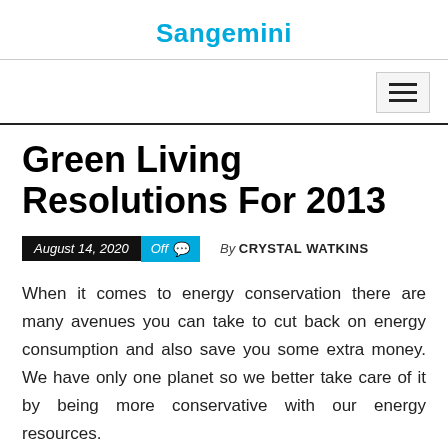Sangemini
Green Living Resolutions For 2013
August 14, 2020  Off  By CRYSTAL WATKINS
When it comes to energy conservation there are many avenues you can take to cut back on energy consumption and also save you some extra money. We have only one planet so we better take care of it by being more conservative with our energy resources.